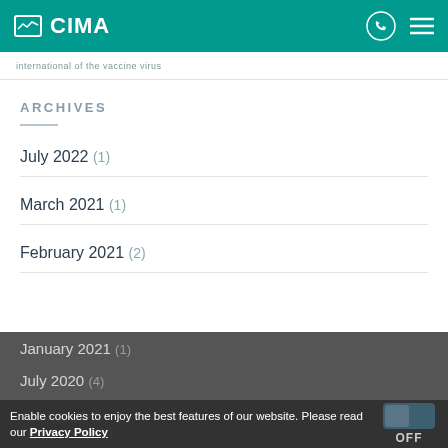CIMA
international of the vaccine virus
ARCHIVES
July 2022 (1)
March 2021 (1)
February 2021 (2)
January 2021 (1)
July 2020 (4)
Enable cookies to enjoy the best features of our website. Please read our Privacy Policy
March 2020 (1)
February 2020 (1)